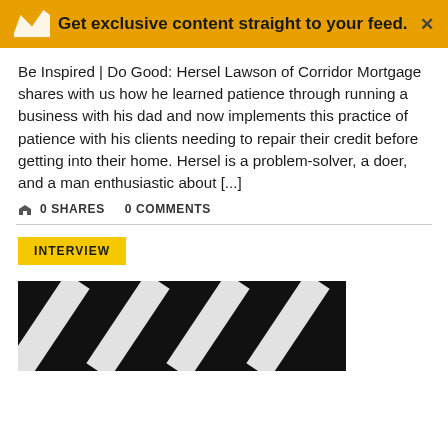Get exclusive content straight to your feed.
Be Inspired | Do Good: Hersel Lawson of Corridor Mortgage shares with us how he learned patience through running a business with his dad and now implements this practice of patience with his clients needing to repair their credit before getting into their home. Hersel is a problem-solver, a doer, and a man enthusiastic about [...]
0 SHARES   0 COMMENTS
INTERVIEW
[Figure (photo): Black and white diagonal striped graphic image, partially visible at bottom of page]